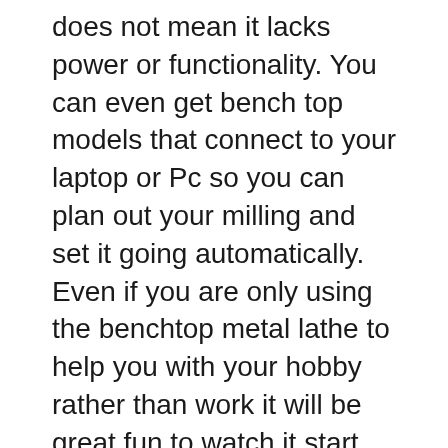does not mean it lacks power or functionality. You can even get bench top models that connect to your laptop or Pc so you can plan out your milling and set it going automatically. Even if you are only using the benchtop metal lathe to help you with your hobby rather than work it will be great fun to watch it start up without you even touching it.
Metal machine tools
When you start to work out a budget to purchase you lathe make sure that you allow yourself enough money to buy the metal machine tools that you will need still. It is also not a good idea to spend a fortune on a benchtop metal lathe and leave yourself with